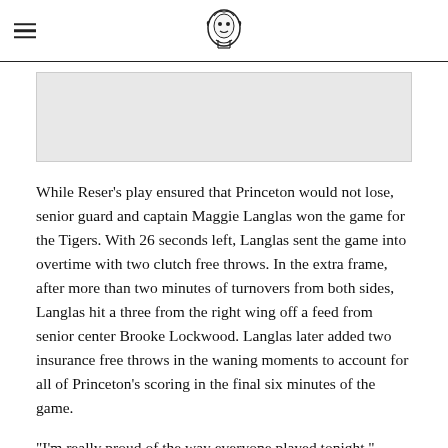[Princeton Tiger logo]
[Figure (other): Gray advertisement placeholder box]
While Reser's play ensured that Princeton would not lose, senior guard and captain Maggie Langlas won the game for the Tigers. With 26 seconds left, Langlas sent the game into overtime with two clutch free throws. In the extra frame, after more than two minutes of turnovers from both sides, Langlas hit a three from the right wing off a feed from senior center Brooke Lockwood. Langlas later added two insurance free throws in the waning moments to account for all of Princeton's scoring in the final six minutes of the game.
"I'm really proud of the way everyone played tonight," Langlas said. "It feels so good to win."